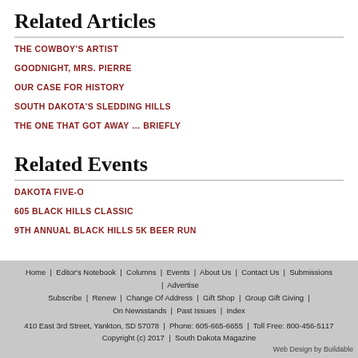Related Articles
THE COWBOY'S ARTIST
GOODNIGHT, MRS. PIERRE
OUR CASE FOR HISTORY
SOUTH DAKOTA'S SLEDDING HILLS
THE ONE THAT GOT AWAY … BRIEFLY
Related Events
DAKOTA FIVE-O
605 BLACK HILLS CLASSIC
9TH ANNUAL BLACK HILLS 5K BEER RUN
Home | Editor's Notebook | Columns | Events | About Us | Contact Us | Submissions | Advertise
Subscribe | Renew | Change Of Address | Gift Shop | Group Gift Giving | On Newsstands | Past Issues | Index
410 East 3rd Street, Yankton, SD 57078 | Phone: 605-665-6655 | Toll Free: 800-456-5117
Copyright (c) 2017 | South Dakota Magazine
Web Design by Buildable